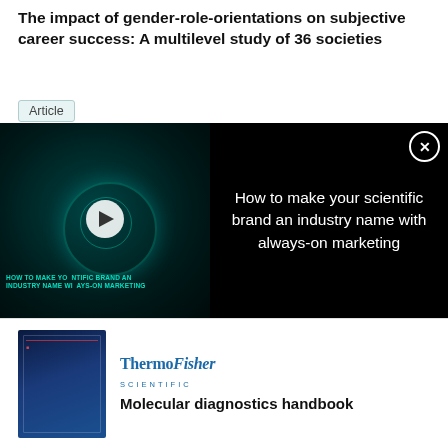The impact of gender-role-orientations on subjective career success: A multilevel study of 36 societies
Article
Aug 2022 · J VOCAT BEHAV
Jane Terpstra Tong · David A. Ralston · Len Treviño · Marian Crowley-Henry
View   Show abstract
[Figure (screenshot): Video advertisement overlay with dark background showing 'How to make your scientific brand an industry name with always-on marketing' with a play button on a teal/dark video thumbnail on the left]
[Figure (illustration): Thermo Fisher Scientific advertisement with book cover image and text 'Molecular diagnostics handbook']